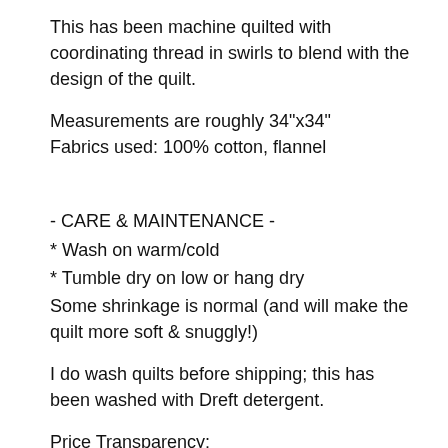This has been machine quilted with coordinating thread in swirls to blend with the design of the quilt.
Measurements are roughly 34"x34"
Fabrics used: 100% cotton, flannel
- CARE & MAINTENANCE -
* Wash on warm/cold
* Tumble dry on low or hang dry
Some shrinkage is normal (and will make the quilt more soft & snuggly!)
I do wash quilts before shipping; this has been washed with Dreft detergent.
Price Transparency:
Materials: $41.50